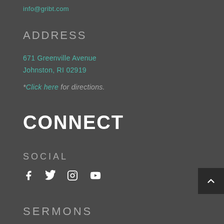info@gribt.com
ADDRESS
671 Greenville Avenue
Johnston, RI 02919
*Click here for directions.
CONNECT
SOCIAL
[Figure (other): Social media icons: Facebook, Twitter, Instagram, YouTube]
SERMONS